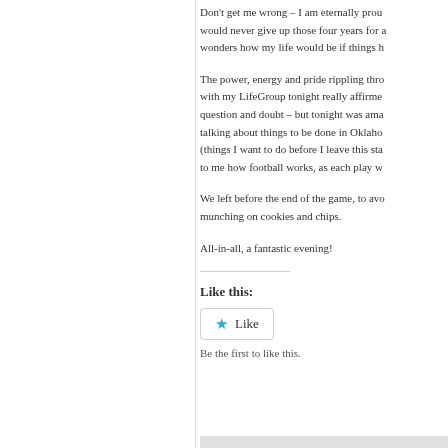Don't get me wrong – I am eternally prou would never give up those four years for a wonders how my life would be if things h
The power, energy and pride rippling thro with my LifeGroup tonight really affirme question and doubt – but tonight was ama talking about things to be done in Oklaho (things I want to do before I leave this sta to me how football works, as each play w
We left before the end of the game, to avo munching on cookies and chips.
All-in-all, a fantastic evening!
Like this:
Like
Be the first to like this.